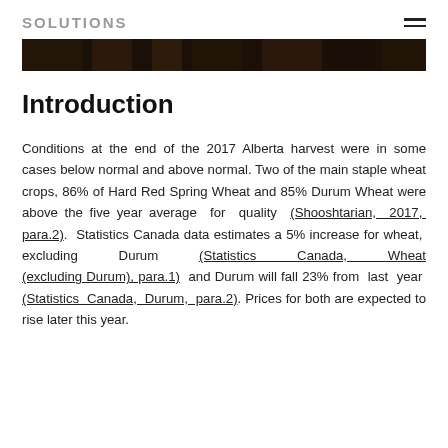SOLUTIONS
[Figure (photo): Dark banner photograph of an agricultural field or harvest scene]
Introduction
Conditions at the end of the 2017 Alberta harvest were in some cases below normal and above normal. Two of the main staple wheat crops, 86% of Hard Red Spring Wheat and 85% Durum Wheat were above the five year average for quality (Shooshtarian, 2017, para.2). Statistics Canada data estimates a 5% increase for wheat, excluding Durum (Statistics Canada, Wheat (excluding Durum), para.1) and Durum will fall 23% from last year (Statistics Canada, Durum, para.2). Prices for both are expected to rise later this year.